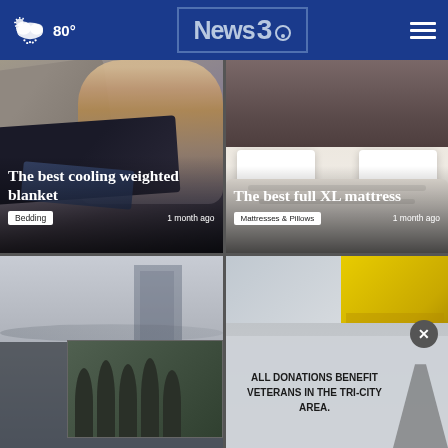News 3 — 80°
[Figure (screenshot): News article card: The best cooling weighted blanket — woman smiling with dark weighted blanket and grey pillows. Tag: Bedding, 1 month ago]
[Figure (screenshot): News article card: The best full XL mattress — tufted grey headboard with white pillows and comforter. Tag: Mattresses & Pillows, 1 month ago]
[Figure (screenshot): News article card: Bottom left — building exterior with group of people in black uniforms]
[Figure (screenshot): News article card: Bottom right — measuring tape with popup overlay: ALL DONATIONS BENEFIT VETERANS IN THE TRI-CITY AREA. Close button X visible.]